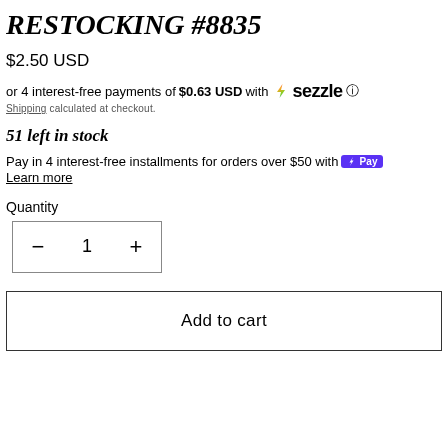RESTOCKING #8835
$2.50 USD
or 4 interest-free payments of $0.63 USD with  sezzle ℹ
Shipping calculated at checkout.
51 left in stock
Pay in 4 interest-free installments for orders over $50 with shop Pay
Learn more
Quantity
- 1 +
Add to cart